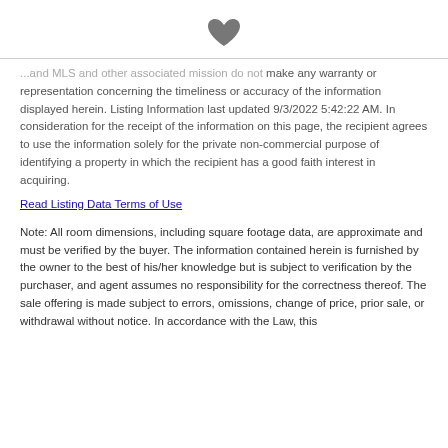[Figure (illustration): Heart icon (favorite/save icon) centered at top of page]
... and MLS and other associated mission do not make any warranty or representation concerning the timeliness or accuracy of the information displayed herein. Listing Information last updated 9/3/2022 5:42:22 AM. In consideration for the receipt of the information on this page, the recipient agrees to use the information solely for the private non-commercial purpose of identifying a property in which the recipient has a good faith interest in acquiring.
Read Listing Data Terms of Use
Note: All room dimensions, including square footage data, are approximate and must be verified by the buyer. The information contained herein is furnished by the owner to the best of his/her knowledge but is subject to verification by the purchaser, and agent assumes no responsibility for the correctness thereof. The sale offering is made subject to errors, omissions, change of price, prior sale, or withdrawal without notice. In accordance with the Law, this